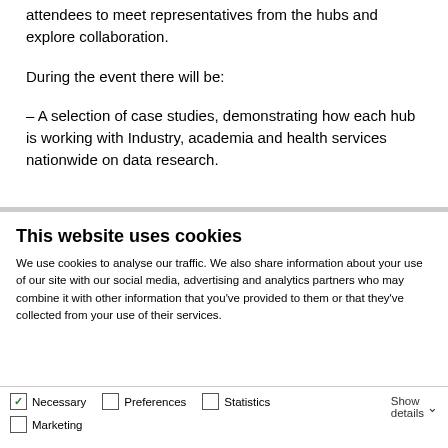attendees to meet representatives from the hubs and explore collaboration.
During the event there will be:
– A selection of case studies, demonstrating how each hub is working with Industry, academia and health services nationwide on data research.
This website uses cookies
We use cookies to analyse our traffic. We also share information about your use of our site with our social media, advertising and analytics partners who may combine it with other information that you've provided to them or that they've collected from your use of their services.
Allow all cookies
Allow selection
Use necessary cookies only
Necessary  Preferences  Statistics  Marketing  Show details